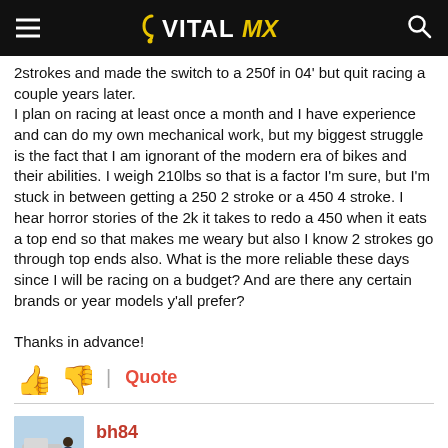VITAL MX
2strokes and made the switch to a 250f in 04' but quit racing a couple years later.
I plan on racing at least once a month and I have experience and can do my own mechanical work, but my biggest struggle is the fact that I am ignorant of the modern era of bikes and their abilities. I weigh 210lbs so that is a factor I'm sure, but I'm stuck in between getting a 250 2 stroke or a 450 4 stroke. I hear horror stories of the 2k it takes to redo a 450 when it eats a top end so that makes me weary but also I know 2 strokes go through top ends also. What is the more reliable these days since I will be racing on a budget? And are there any certain brands or year models y'all prefer?

Thanks in advance!
[Figure (other): Thumbs up and thumbs down reaction icons with a Quote button]
[Figure (photo): Avatar photo of user bh84 showing a person near a vehicle outdoors]
bh84
7/19/2017 5:40am